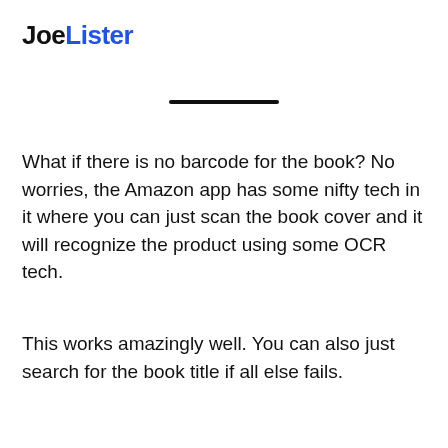JoeLister
[Figure (other): Horizontal black divider line]
What if there is no barcode for the book? No worries, the Amazon app has some nifty tech in it where you can just scan the book cover and it will recognize the product using some OCR tech.
This works amazingly well. You can also just search for the book title if all else fails.